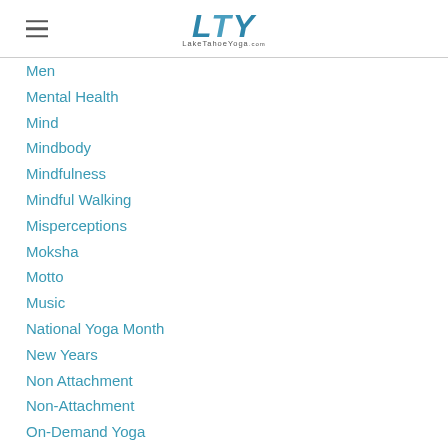LTY LakeTahoeYoga
Men
Mental Health
Mind
Mindbody
Mindfulness
Mindful Walking
Misperceptions
Moksha
Motto
Music
National Yoga Month
New Years
Non Attachment
Non-Attachment
On-Demand Yoga
Paddle Yoga
Paddle Yoga Tahoe